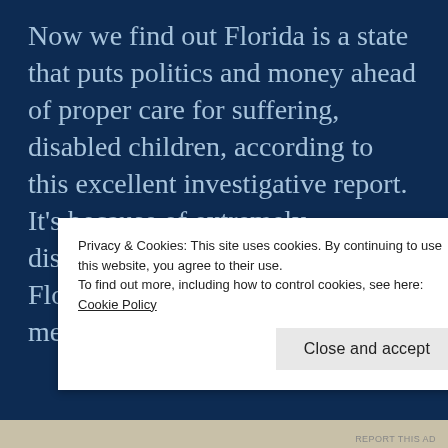Now we find out Florida is a state that puts politics and money ahead of proper care for suffering, disabled children, according to this excellent investigative report. It’s because of extremely disproportionate donations to the Florida state GOP coffers by the medical
Privacy & Cookies: This site uses cookies. By continuing to use this website, you agree to their use.
To find out more, including how to control cookies, see here: Cookie Policy
Close and accept